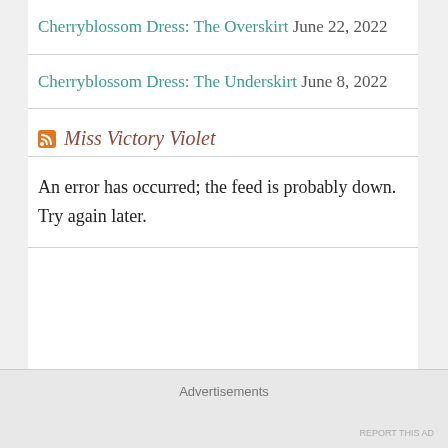Cherryblossom Dress: The Overskirt June 22, 2022
Cherryblossom Dress: The Underskirt June 8, 2022
Miss Victory Violet
An error has occurred; the feed is probably down. Try again later.
Advertisements